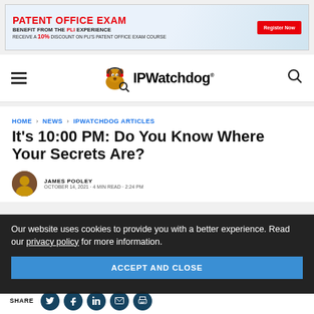[Figure (other): Advertisement banner: PATENT OFFICE EXAM - BENEFIT FROM THE PLI EXPERIENCE - RECEIVE A 10% DISCOUNT ON PLI'S PATENT OFFICE EXAM COURSE - Register Now button]
[Figure (logo): IPWatchdog logo with dog mascot wearing headphones and magnifying glass, with hamburger menu and search icon]
HOME > NEWS > IPWATCHDOG ARTICLES
It's 10:00 PM: Do You Know Where Your Secrets Are?
JAMES POOLEY
Our website uses cookies to provide you with a better experience. Read our privacy policy for more information.
ACCEPT AND CLOSE
SHARE